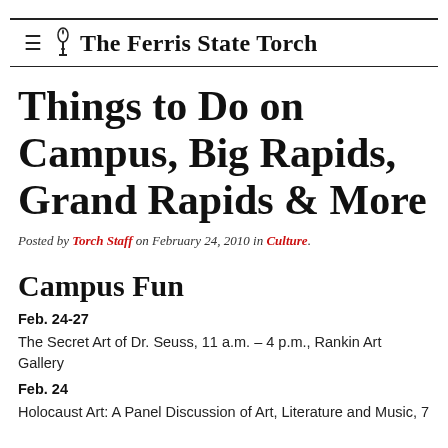≡ 🔥 The Ferris State Torch
Things to Do on Campus, Big Rapids, Grand Rapids & More
Posted by Torch Staff on February 24, 2010 in Culture.
Campus Fun
Feb. 24-27
The Secret Art of Dr. Seuss, 11 a.m. – 4 p.m., Rankin Art Gallery
Feb. 24
Holocaust Art: A Panel Discussion of Art, Literature and Music, 7